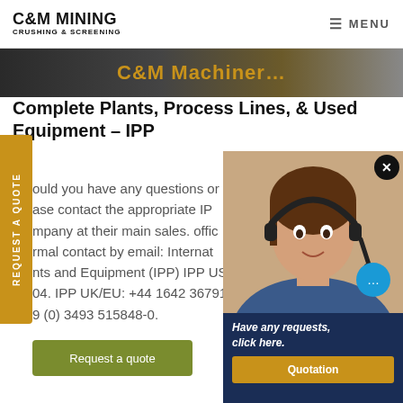C&M MINING CRUSHING & SCREENING | MENU
[Figure (photo): Hero banner image showing C&M Machinery text in orange on dark background]
Complete Plants, Process Lines, & Used Equipment – IPP
ould you have any questions or urgent needs, ase contact the appropriate IPP mpany at their main sales. offic rmal contact by email: Internat nts and Equipment (IPP) IPP US 04. IPP UK/EU: +44 1642 367910. 9 (0) 3493 515848-0.
[Figure (photo): Chat widget showing a woman with headset, close button, chat bubble button, Have any requests click here text, and Quotation button on dark blue background]